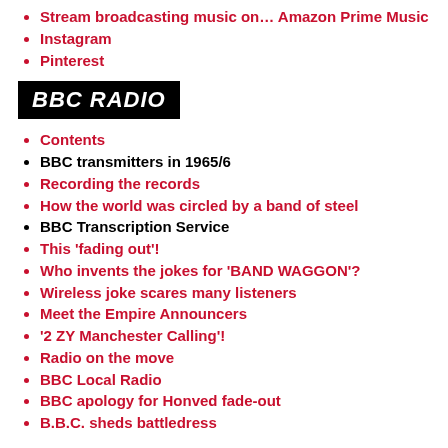Stream broadcasting music on… Amazon Prime Music
Instagram
Pinterest
BBC RADIO
Contents
BBC transmitters in 1965/6
Recording the records
How the world was circled by a band of steel
BBC Transcription Service
This 'fading out'!
Who invents the jokes for 'BAND WAGGON'?
Wireless joke scares many listeners
Meet the Empire Announcers
'2 ZY Manchester Calling'!
Radio on the move
BBC Local Radio
BBC apology for Honved fade-out
B.B.C. sheds battledress